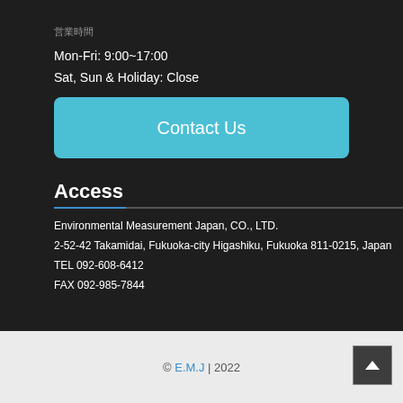営業時間
Mon-Fri: 9:00~17:00
Sat, Sun & Holiday: Close
Contact Us
Access
Environmental Measurement Japan, CO., LTD.
2-52-42 Takamidai, Fukuoka-city Higashiku, Fukuoka 811-0215, Japan
TEL 092-608-6412
FAX 092-985-7844
© E.M.J | 2022